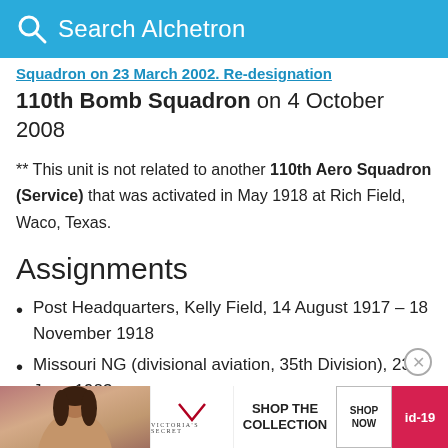Search Alchetron
Squadron on 23 March 2002. Re-designation 110th Bomb Squadron on 4 October 2008
** This unit is not related to another 110th Aero Squadron (Service) that was activated in May 1918 at Rich Field, Waco, Texas.
Assignments
Post Headquarters, Kelly Field, 14 August 1917 – 18 November 1918
Missouri NG (divisional aviation, 35th Division), 23 June 1923
VII Army Corps, c. December 1940
II A...
71...